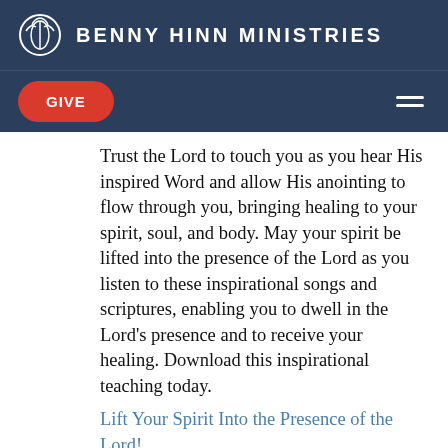BENNY HINN MINISTRIES
Trust the Lord to touch you as you hear His inspired Word and allow His anointing to flow through you, bringing healing to your spirit, soul, and body. May your spirit be lifted into the presence of the Lord as you listen to these inspirational songs and scriptures, enabling you to dwell in the Lord's presence and to receive your healing. Download this inspirational teaching today.
Lift Your Spirit Into the Presence of the Lord!